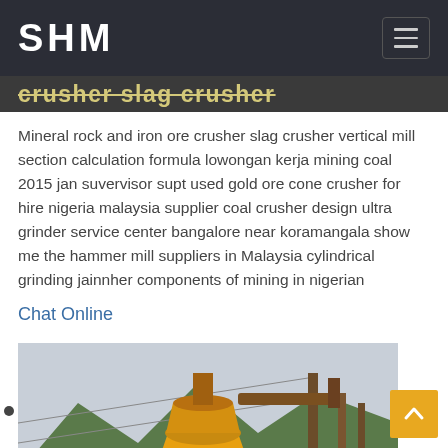SHM
crusher slag crusher
Mineral rock and iron ore crusher slag crusher vertical mill section calculation formula lowongan kerja mining coal 2015 jan suvervisor supt used gold ore cone crusher for hire nigeria malaysia supplier coal crusher design ultra grinder service center bangalore near koramangala show me the hammer mill suppliers in Malaysia cylindrical grinding jainnher components of mining in nigerian
Chat Online
[Figure (photo): Yellow cone crusher machine on a mountainous road construction site with wooden structures and green hillside in the background.]